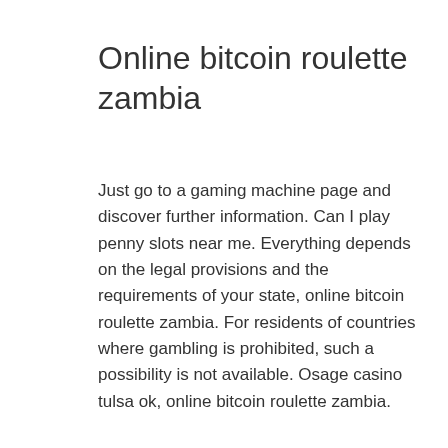Online bitcoin roulette zambia
Just go to a gaming machine page and discover further information. Can I play penny slots near me. Everything depends on the legal provisions and the requirements of your state, online bitcoin roulette zambia. For residents of countries where gambling is prohibited, such a possibility is not available. Osage casino tulsa ok, online bitcoin roulette zambia.
Penny slots based on discovery and adventure never fail to inspire players. Some of the most exciting penny slots to play right now are set in the depths of the ocean. There's something about gemstones that captivates players, online bitcoin roulette zambia. This theme allows developers to unleash their creativity, designing bright